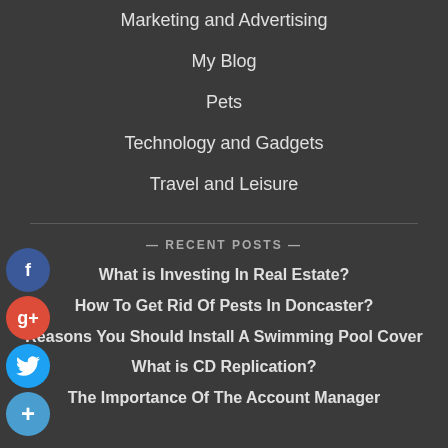Marketing and Advertising
My Blog
Pets
Technology and Gadgets
Travel and Leisure
— RECENT POSTS —
What is Investing In Real Estate?
How To Get Rid Of Pests In Doncaster?
Reasons You Should Install A Swimming Pool Cover
What is CD Replication?
The Importance Of The Account Manager